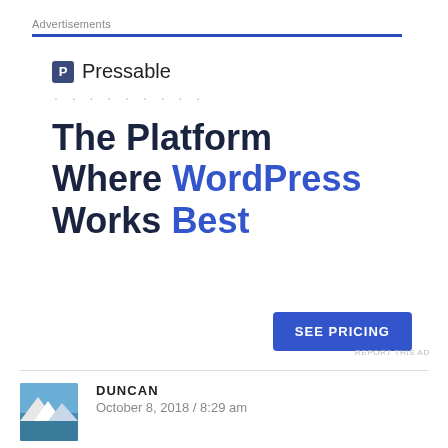Advertisements
[Figure (infographic): Pressable advertisement: logo with 'P' icon and Pressable name, dots separator, large headline 'The Platform Where WordPress Works Best' with 'WordPress' and 'Best' in blue, and a blue 'SEE PRICING' button.]
REPORT THIS AD
DUNCAN
October 8, 2018 / 8:29 am
Wait, They're building a pulse chondola? Has that ever been done before?